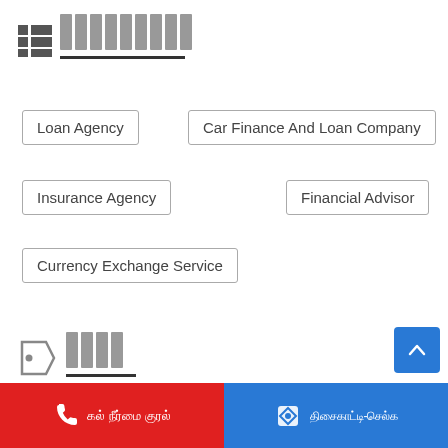[Figure (other): Grid list icon and pixelated gray text header bar]
Loan Agency
Car Finance And Loan Company
Insurance Agency
Financial Advisor
Currency Exchange Service
[Figure (other): Tag/label icon and pixelated gray text header bar]
Gold Loan branch near me
Home Finance Agent Near Me
Muthoot FinCorp Branch Near Me
Gold Loan Interest
Call | Get-Directions